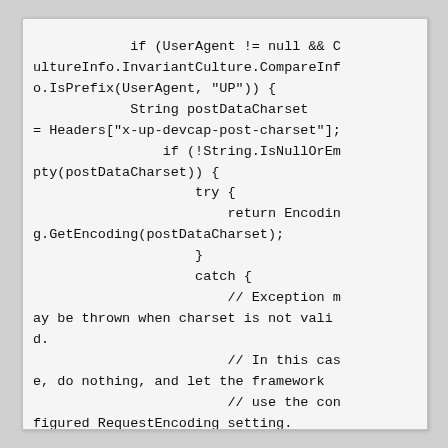if (UserAgent != null && CultureInfo.InvariantCulture.CompareInfo.IsPrefix(UserAgent, "UP")) {
    String postDataCharset = Headers["x-up-devcap-post-charset"];
    if (!String.IsNullOrEmpty(postDataCharset)) {
        try {
            return Encoding.GetEncoding(postDataCharset);
        }
        catch {
            // Exception may be thrown when charset is not valid.
            // In this case, do nothing, and let the framework
            // use the configured RequestEncoding setting.
        }
    }
}